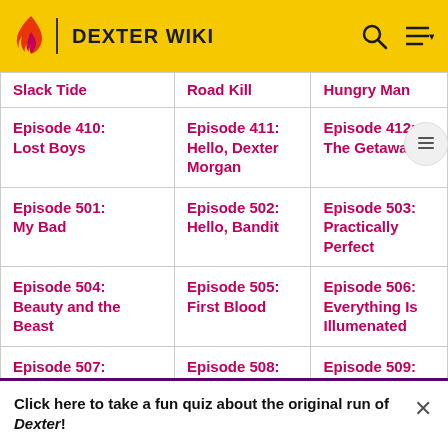DEXTER WIKI
| Slack Tide | Road Kill | Hungry Man |
| Episode 410:
Lost Boys | Episode 411:
Hello, Dexter Morgan | Episode 412:
The Getaway |
| Episode 501:
My Bad | Episode 502:
Hello, Bandit | Episode 503:
Practically Perfect |
| Episode 504:
Beauty and the Beast | Episode 505:
First Blood | Episode 506:
Everything Is Illumenated |
| Episode 507:
Circle Us | Episode 508:
Take It! | Episode 509:
Teenage... |
Click here to take a fun quiz about the original run of Dexter!